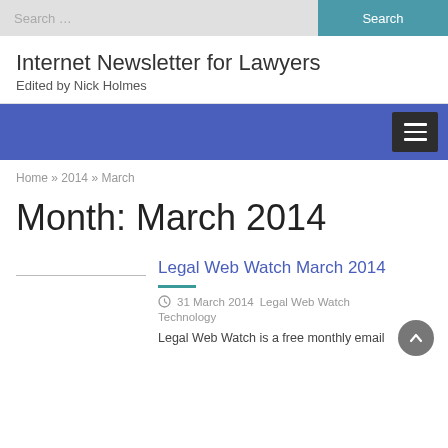Search ... Search
Internet Newsletter for Lawyers
Edited by Nick Holmes
[Figure (other): Blue navigation bar with hamburger menu button on the right]
Home » 2014 » March
Month: March 2014
Legal Web Watch March 2014
31 March 2014   Legal Web Watch   Technology
Legal Web Watch is a free monthly email